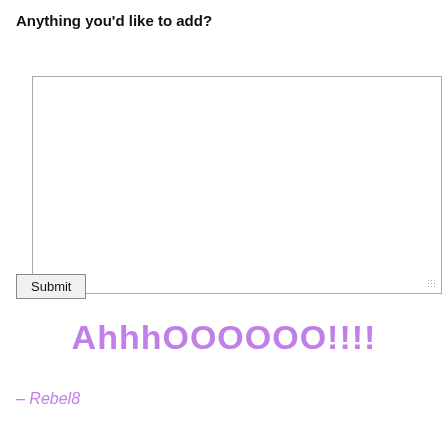Anything you'd like to add?
[Figure (other): Empty textarea input box with resize handle]
Submit
AhhhOOOOOO!!!!
– Rebel8